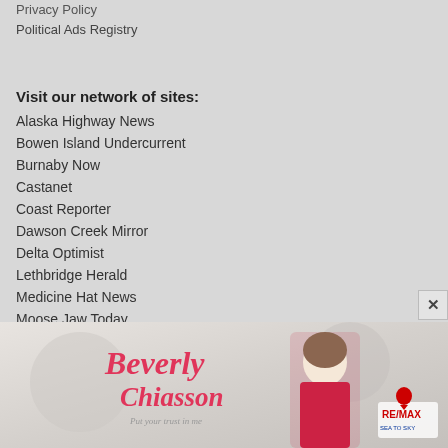Privacy Policy
Political Ads Registry
Visit our network of sites:
Alaska Highway News
Bowen Island Undercurrent
Burnaby Now
Castanet
Coast Reporter
Dawson Creek Mirror
Delta Optimist
Lethbridge Herald
Medicine Hat News
Moose Jaw Today
New West Record
North Shore News
Pique Newsmagazine
Powell River Peak
[Figure (photo): Advertisement banner for Beverly Chiasson, a RE/MAX real estate agent, featuring her name in pink cursive script, her photo in a red blazer, and the RE/MAX Sea to Sky logo.]